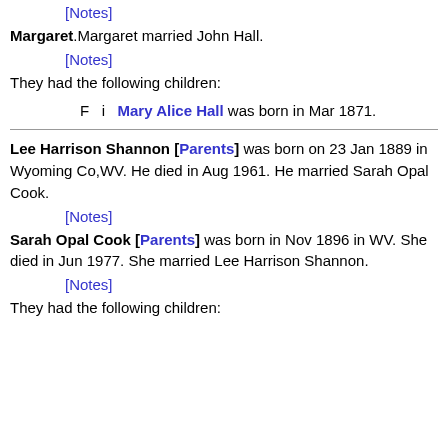[Notes]
Margaret. Margaret married John Hall.
[Notes]
They had the following children:
F  i  Mary Alice Hall was born in Mar 1871.
Lee Harrison Shannon [Parents] was born on 23 Jan 1889 in Wyoming Co,WV. He died in Aug 1961. He married Sarah Opal Cook.
[Notes]
Sarah Opal Cook [Parents] was born in Nov 1896 in WV. She died in Jun 1977. She married Lee Harrison Shannon.
[Notes]
They had the following children: